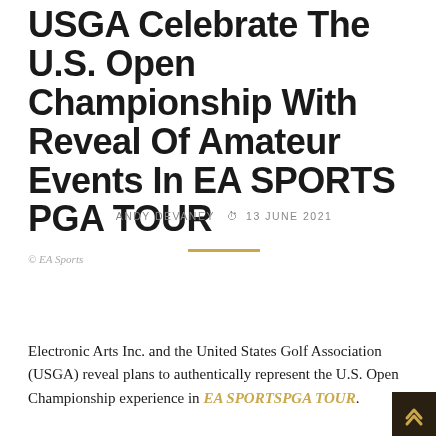USGA Celebrate The U.S. Open Championship With Reveal Of Amateur Events In EA SPORTS PGA TOUR
ANDY DEVANEY  🕐 13 JUNE 2021
© EA Sports
Electronic Arts Inc. and the United States Golf Association (USGA) reveal plans to authentically represent the U.S. Open Championship experience in EA SPORTSPGA TOUR.